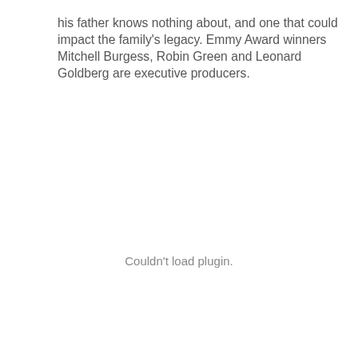his father knows nothing about, and one that could impact the family's legacy. Emmy Award winners Mitchell Burgess, Robin Green and Leonard Goldberg are executive producers.
Couldn't load plugin.